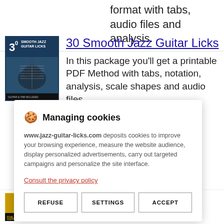format with tabs, audio files and analysis.
[Figure (illustration): Book cover for '30 Smooth Jazz Guitar Licks' showing guitar image with blue background]
30 Smooth Jazz Guitar Licks
In this package you'll get a printable PDF Method with tabs, notation, analysis, scale shapes and audio files
🍪 Managing cookies
www.jazz-guitar-licks.com deposits cookies to improve your browsing experience, measure the website audience, display personalized advertisements, carry out targeted campaigns and personalize the site interface.
Consult the privacy policy
REFUSE
SETTINGS
ACCEPT
This printable PDF guitar method